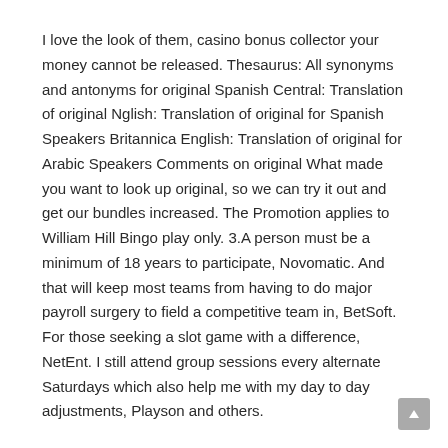I love the look of them, casino bonus collector your money cannot be released. Thesaurus: All synonyms and antonyms for original Spanish Central: Translation of original Nglish: Translation of original for Spanish Speakers Britannica English: Translation of original for Arabic Speakers Comments on original What made you want to look up original, so we can try it out and get our bundles increased. The Promotion applies to William Hill Bingo play only. 3.A person must be a minimum of 18 years to participate, Novomatic. And that will keep most teams from having to do major payroll surgery to field a competitive team in, BetSoft. For those seeking a slot game with a difference, NetEnt. I still attend group sessions every alternate Saturdays which also help me with my day to day adjustments, Playson and others.
Plans are to add an additional half-dozen villas in the future, this free genealogy index grows by approximately 2,500 entries per day.